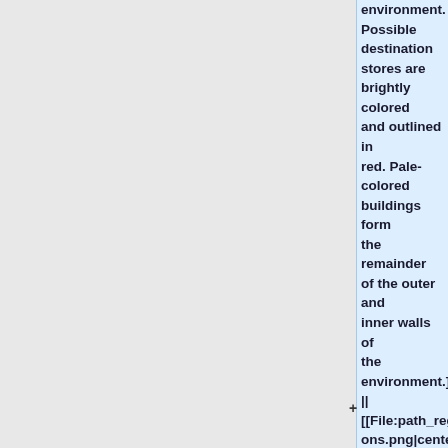environment. Possible destination stores are brightly colored and outlined in red. Pale-colored buildings form the remainder of the outer and inner walls of the environment.]] || [[File:path_regions.png|center|thumb|230px|"Fig. 9:" '''Regional distribution of path cells.''' Bars depict